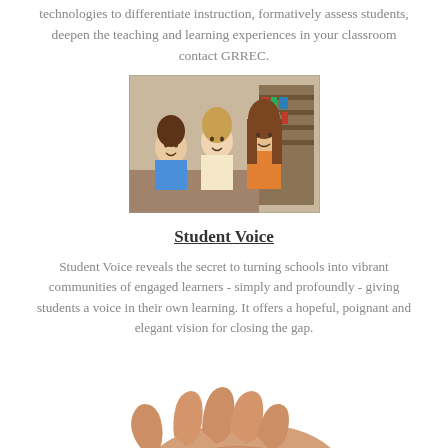technologies to differentiate instruction, formatively assess students, deepen the teaching and learning experiences in your classroom contact GRREC.
[Figure (photo): Three smiling middle-school girls sitting together, likely in a library or classroom setting.]
Student Voice
Student Voice reveals the secret to turning schools into vibrant communities of engaged learners - simply and profoundly - giving students a voice in their own learning. It offers a hopeful, poignant and elegant vision for closing the gap.
[Figure (photo): An open hand held palm-up, suggesting offering or giving.]